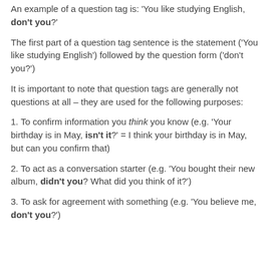An example of a question tag is: 'You like studying English, don't you?'
The first part of a question tag sentence is the statement ('You like studying English') followed by the question form ('don't you?')
It is important to note that question tags are generally not questions at all – they are used for the following purposes:
1. To confirm information you think you know (e.g. 'Your birthday is in May, isn't it?' = I think your birthday is in May, but can you confirm that)
2. To act as a conversation starter (e.g. 'You bought their new album, didn't you? What did you think of it?')
3. To ask for agreement with something (e.g. 'You believe me, don't you?')